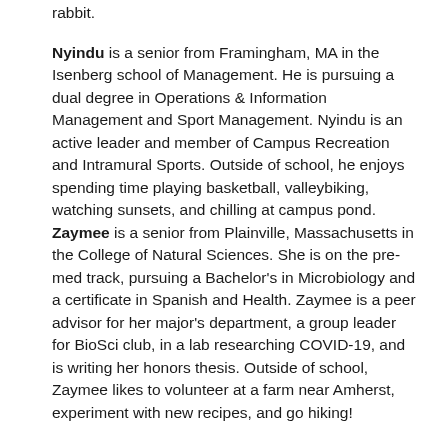rabbit.
Nyindu is a senior from Framingham, MA in the Isenberg school of Management. He is pursuing a dual degree in Operations & Information Management and Sport Management. Nyindu is an active leader and member of Campus Recreation and Intramural Sports. Outside of school, he enjoys spending time playing basketball, valleybiking, watching sunsets, and chilling at campus pond.
Zaymee is a senior from Plainville, Massachusetts in the College of Natural Sciences. She is on the pre-med track, pursuing a Bachelor's in Microbiology and a certificate in Spanish and Health. Zaymee is a peer advisor for her major's department, a group leader for BioSci club, in a lab researching COVID-19, and is writing her honors thesis. Outside of school, Zaymee likes to volunteer at a farm near Amherst, experiment with new recipes, and go hiking!